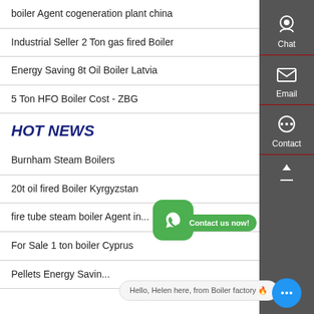boiler Agent cogeneration plant china
Industrial Seller 2 Ton gas fired Boiler
Energy Saving 8t Oil Boiler Latvia
5 Ton HFO Boiler Cost - ZBG
HOT NEWS
Burnham Steam Boilers
20t oil fired Boiler Kyrgyzstan
fire tube steam boiler Agent in...
For Sale 1 ton boiler Cyprus
Pellets Energy Savin...
[Figure (screenshot): Sidebar with Chat, Email, Contact icons on dark grey background]
[Figure (screenshot): WhatsApp green icon overlay with 'Contact us now!' bubble and 'Hello, Helen here, from Boiler factory' chat bubble]